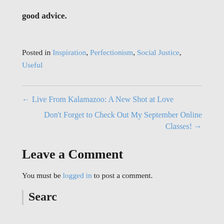good advice.
Posted in Inspiration, Perfectionism, Social Justice, Useful
← Live From Kalamazoo: A New Shot at Love
Don't Forget to Check Out My September Online Classes! →
Leave a Comment
You must be logged in to post a comment.
Search